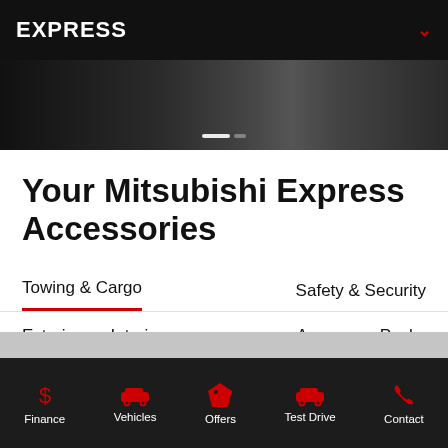EXPRESS
[Figure (photo): Dark hero image strip showing a vehicle interior/exterior scene with a white progress dot indicator]
Your Mitsubishi Express Accessories
Towing & Cargo
Safety & Security
Exterior
Interior
Accessory Packs
Finance  Vehicles  Offers  Test Drive  Contact